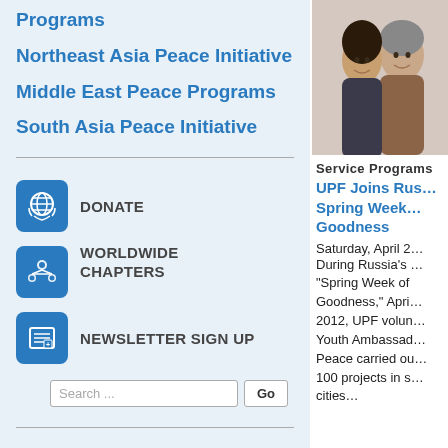Programs
Northeast Asia Peace Initiative
Middle East Peace Programs
South Asia Peace Initiative
[Figure (illustration): Blue donate icon — globe with hands]
DONATE
[Figure (illustration): Blue worldwide chapters icon — connected people nodes]
WORLDWIDE CHAPTERS
[Figure (illustration): Blue newsletter sign up icon — document/envelope]
NEWSLETTER SIGN UP
[Figure (photo): Two women smiling, one younger and one older]
Service Programs
UPF Joins Rus… Spring Week… Goodness
Saturday, April 2…
During Russia's … "Spring Week of Goodness," Apri… 2012, UPF volun… Youth Ambassad… Peace carried ou… 100 projects in s… cities…